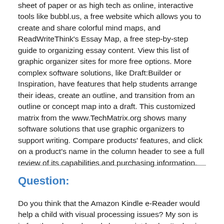sheet of paper or as high tech as online, interactive tools like bubbl.us, a free website which allows you to create and share colorful mind maps, and ReadWriteThink's Essay Map, a free step-by-step guide to organizing essay content. View this list of graphic organizer sites for more free options. More complex software solutions, like Draft:Builder or Inspiration, have features that help students arrange their ideas, create an outline, and transition from an outline or concept map into a draft. This customized matrix from the www.TechMatrix.org shows many software solutions that use graphic organizers to support writing. Compare products' features, and click on a product's name in the column header to see a full review of its capabilities and purchasing information.
Question:
Do you think that the Amazon Kindle e-Reader would help a child with visual processing issues? My son is in fourth grade and needs large print books. I'm having difficulty finding grade level appropriate books with larger fonts. Could Kindle be a solution?